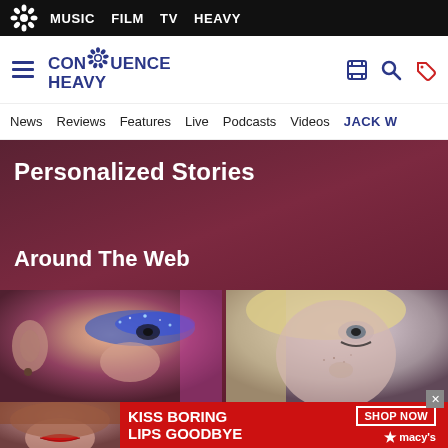MUSIC  FILM  TV  HEAVY
[Figure (screenshot): Consequence Heavy website logo with gear icon, hamburger menu, search icon, and tag icon]
News  Reviews  Features  Live  Podcasts  Videos  JACK W
Personalized Stories
Around The Web
[Figure (photo): Close-up photo of a person wearing blue glitter eye makeup]
[Figure (photo): Close-up photo of a person with blonde hair and dark eye makeup]
[Figure (photo): Macy's advertisement banner: KISS BORING LIPS GOODBYE with SHOP NOW button and Macy's star logo]